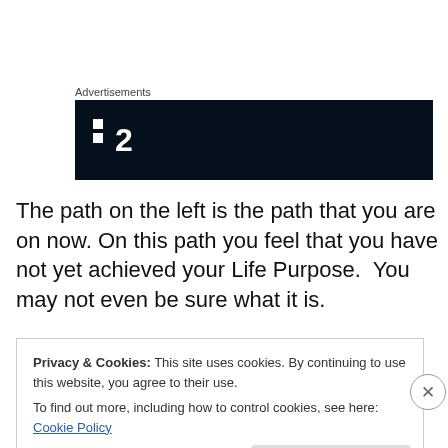Advertisements
[Figure (logo): Dark navy/black banner with a white logo consisting of a 2x2 dot grid (top-left and bottom-left dots filled, top-right empty) followed by the number 2 in white bold text.]
The path on the left is the path that you are on now. On this path you feel that you have not yet achieved your Life Purpose.  You may not even be sure what it is.
Privacy & Cookies: This site uses cookies. By continuing to use this website, you agree to their use.
To find out more, including how to control cookies, see here: Cookie Policy
Close and accept